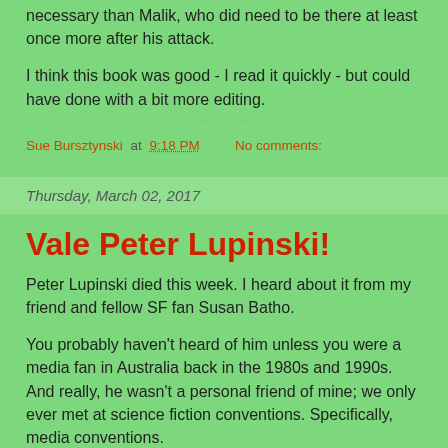necessary than Malik, who did need to be there at least once more after his attack.
I think this book was good - I read it quickly - but could have done with a bit more editing.
Sue Bursztynski at 9:18 PM    No comments:
Thursday, March 02, 2017
Vale Peter Lupinski!
Peter Lupinski died this week. I heard about it from my friend and fellow SF fan Susan Batho.
You probably haven't heard of him unless you were a media fan in Australia back in the 1980s and 1990s. And really, he wasn't a personal friend of mine; we only ever met at science fiction conventions. Specifically, media conventions.
In those days, media conventions in Australia were run by